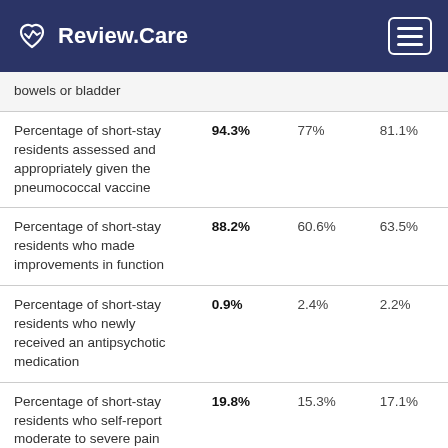Review.Care
| Measure | Facility | State | National |
| --- | --- | --- | --- |
| bowels or bladder |  |  |  |
| Percentage of short-stay residents assessed and appropriately given the pneumococcal vaccine | 94.3% | 77% | 81.1% |
| Percentage of short-stay residents who made improvements in function | 88.2% | 60.6% | 63.5% |
| Percentage of short-stay residents who newly received an antipsychotic medication | 0.9% | 2.4% | 2.2% |
| Percentage of short-stay residents who self-report moderate to severe pain | 19.8% | 15.3% | 17.1% |
| Percentage of short-stay | 96.3% | 75.6% | 80.3% |